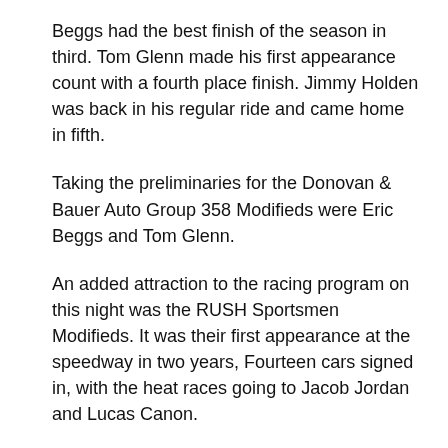Beggs had the best finish of the season in third. Tom Glenn made his first appearance count with a fourth place finish. Jimmy Holden was back in his regular ride and came home in fifth.
Taking the preliminaries for the Donovan & Bauer Auto Group 358 Modifieds were Eric Beggs and Tom Glenn.
An added attraction to the racing program on this night was the RUSH Sportsmen Modifieds. It was their first appearance at the speedway in two years, Fourteen cars signed in, with the heat races going to Jacob Jordan and Lucas Canon.
Ayden Cipriano won the draw for the pole position, and Canon joined him on the front row, Cipriano led the twenty-lap main form start to finish. Second through fourth changed hands, with J.C. Boyer holding the second